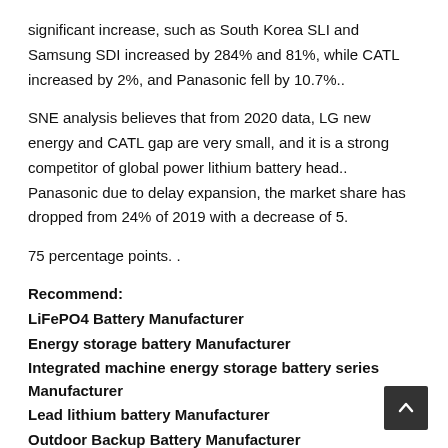significant increase, such as South Korea SLI and Samsung SDI increased by 284% and 81%, while CATL increased by 2%, and Panasonic fell by 10.7%..
SNE analysis believes that from 2020 data, LG new energy and CATL gap are very small, and it is a strong competitor of global power lithium battery head.. Panasonic due to delay expansion, the market share has dropped from 24% of 2019 with a decrease of 5.
75 percentage points. .
Recommend:
LiFePO4 Battery Manufacturer
Energy storage battery Manufacturer
Integrated machine energy storage battery series Manufacturer
Lead lithium battery Manufacturer
Outdoor Backup Battery Manufacturer